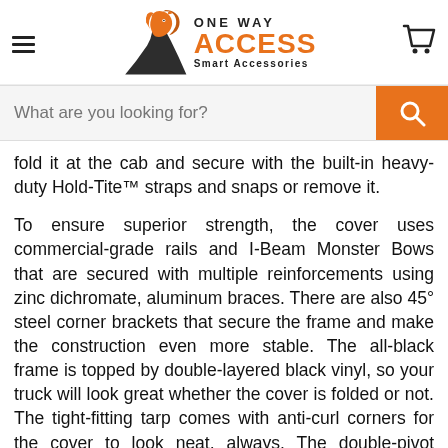ONE WAY ACCESS Smart Accessories
fold it at the cab and secure with the built-in heavy-duty Hold-Tite™ straps and snaps or remove it.
To ensure superior strength, the cover uses commercial-grade rails and I-Beam Monster Bows that are secured with multiple reinforcements using zinc dichromate, aluminum braces. There are also 45° steel corner brackets that secure the frame and make the construction even more stable. The all-black frame is topped by double-layered black vinyl, so your truck will look great whether the cover is folded or not. The tight-fitting tarp comes with anti-curl corners for the cover to look neat, always. The double-pivot MaxHinges are made